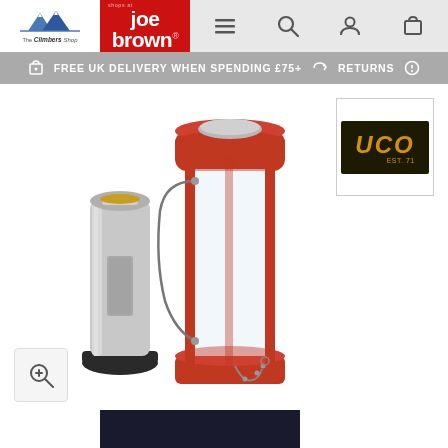[Figure (logo): The Climbers Shop logo with mountain graphic]
[Figure (logo): Joe Brown shops logo on red background]
FREE UK DELIVERY WHEN SPENDING £75+    RETURNS
[Figure (logo): UCO brand logo, gold text on dark background]
[Figure (photo): UCO candle lantern product shown disassembled - red cylindrical lantern body with glass chimney and wire bail, next to silver candle cartridge with black base]
[Figure (other): Zoom/magnify button icon in light grey box]
[Figure (photo): Partial dark thumbnail image at bottom of page]